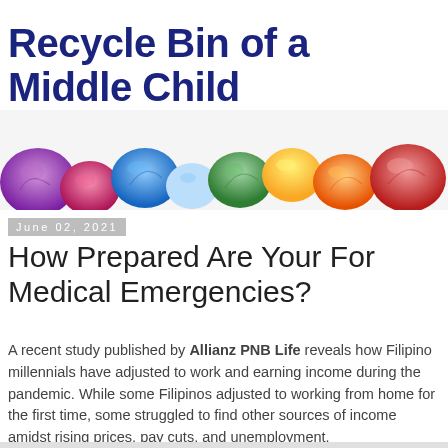Recycle Bin of a Middle Child
[Figure (photo): Colorful crumpled paper balls arranged in rainbow order from purple to red on a white background, used as a blog banner image.]
June 02, 2021
How Prepared Are Your For Medical Emergencies?
A recent study published by Allianz PNB Life reveals how Filipino millennials have adjusted to work and earning income during the pandemic. While some Filipinos adjusted to working from home for the first time, some struggled to find other sources of income amidst rising prices, pay cuts, and unemployment.